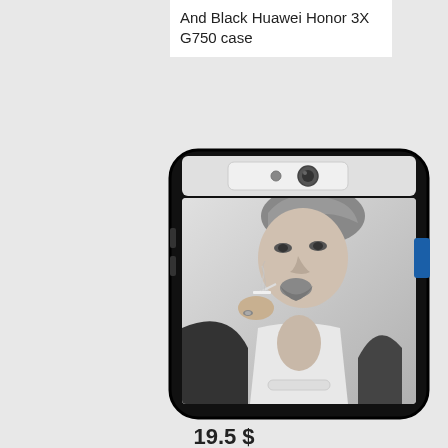And Black Huawei Honor 3X G750 case
[Figure (photo): Product photo of a black Huawei Honor 3X G750 phone case featuring a black and white photo of a man smoking a cigarette, wearing a suit.]
19.5 $